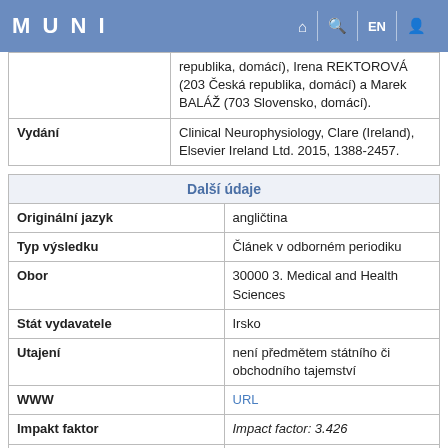MUNI
|  | republika, domácí), Irena REKTOROVÁ (203 Česká republika, domácí) a Marek BALÁŽ (703 Slovensko, domácí). |
| Vydání | Clinical Neurophysiology, Clare (Ireland), Elsevier Ireland Ltd. 2015, 1388-2457. |
| Další údaje |
| --- |
| Originální jazyk | angličtina |
| Typ výsledku | Článek v odborném periodiku |
| Obor | 30000 3. Medical and Health Sciences |
| Stát vydavatele | Irsko |
| Utajení | není předmětem státního či obchodního tajemství |
| WWW | URL |
| Impakt faktor | Impact factor: 3.426 |
| Kód RIV | RIV/00216224:14740/15:00082209 |